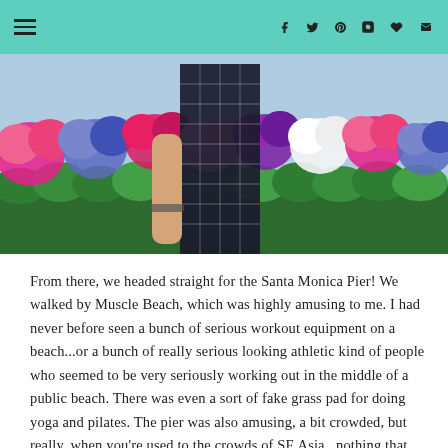Navigation and social icons header bar
[Figure (photo): Person wearing a dark grid-patterned dress standing in front of a colorful hydrangea flower wall with green hedges below. The flowers are pink, blue, purple, white and magenta.]
From there, we headed straight for the Santa Monica Pier! We walked by Muscle Beach, which was highly amusing to me. I had never before seen a bunch of serious workout equipment on a beach...or a bunch of really serious looking athletic kind of people who seemed to be very seriously working out in the middle of a public beach. There was even a sort of fake grass pad for doing yoga and pilates. The pier was also amusing, a bit crowded, but really, when you're used to the crowds of SE Asia...nothing that could phase us. The funniest part was when I noticed